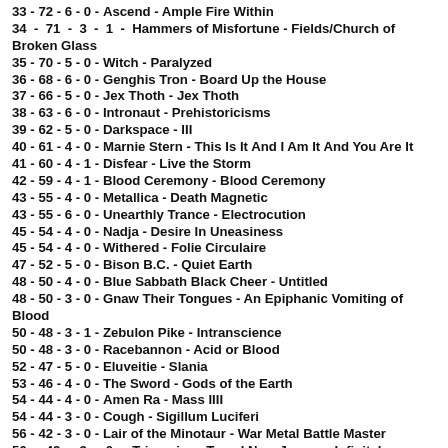33 - 72 - 6 - 0 - Ascend - Ample Fire Within
34 - 71 - 3 - 1 - Hammers of Misfortune - Fields/Church of Broken Glass
35 - 70 - 5 - 0 - Witch - Paralyzed
36 - 68 - 6 - 0 - Genghis Tron - Board Up the House
37 - 66 - 5 - 0 - Jex Thoth - Jex Thoth
38 - 63 - 6 - 0 - Intronaut - Prehistoricisms
39 - 62 - 5 - 0 - Darkspace - III
40 - 61 - 4 - 0 - Marnie Stern - This Is It And I Am It And You Are It
41 - 60 - 4 - 1 - Disfear - Live the Storm
42 - 59 - 4 - 1 - Blood Ceremony - Blood Ceremony
43 - 55 - 4 - 0 - Metallica - Death Magnetic
43 - 55 - 6 - 0 - Unearthly Trance - Electrocution
45 - 54 - 4 - 0 - Nadja - Desire In Uneasiness
45 - 54 - 4 - 0 - Withered - Folie Circulaire
47 - 52 - 5 - 0 - Bison B.C. - Quiet Earth
48 - 50 - 4 - 0 - Blue Sabbath Black Cheer - Untitled
48 - 50 - 3 - 0 - Gnaw Their Tongues - An Epiphanic Vomiting of Blood
50 - 48 - 3 - 1 - Zebulon Pike - Intranscience
50 - 48 - 3 - 0 - Racebannon - Acid or Blood
52 - 47 - 5 - 0 - Eluveitie - Slania
53 - 46 - 4 - 0 - The Sword - Gods of the Earth
54 - 44 - 4 - 0 - Amen Ra - Mass IIII
54 - 44 - 3 - 0 - Cough - Sigillum Luciferi
56 - 42 - 3 - 0 - Lair of the Minotaur - War Metal Battle Master
56 - 42 - 3 - 0 - Trinacria - Travel Now Journey Infinitely